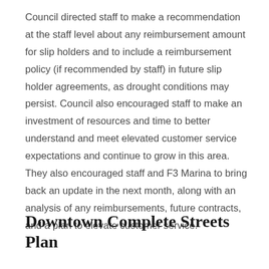Council directed staff to make a recommendation at the staff level about any reimbursement amount for slip holders and to include a reimbursement policy (if recommended by staff) in future slip holder agreements, as drought conditions may persist. Council also encouraged staff to make an investment of resources and time to better understand and meet elevated customer service expectations and continue to grow in this area. They also encouraged staff and F3 Marina to bring back an update in the next month, along with an analysis of any reimbursements, future contracts, and a plan to elevate customer service.
Downtown Complete Streets Plan